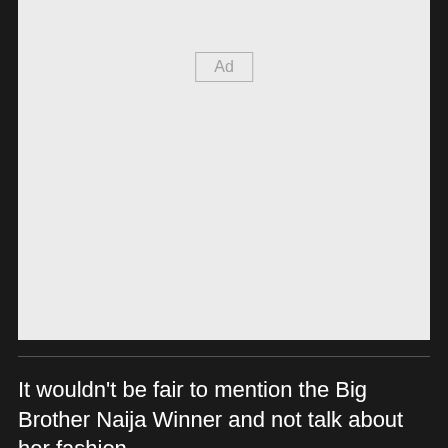[Figure (other): Advertisement placeholder box with 'Ad' label centered near the top]
It wouldn't be fair to mention the Big Brother Naija Winner and not talk about her fashion